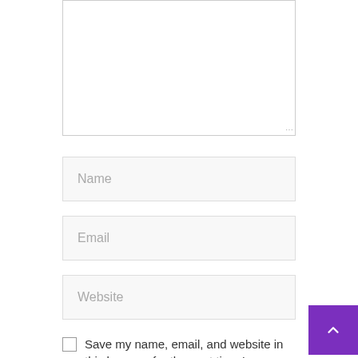[Figure (screenshot): Empty textarea comment input box with resize handle at bottom right]
Name
Email
Website
Save my name, email, and website in this browser for the next time I
[Figure (other): Purple back-to-top button with upward chevron arrow]